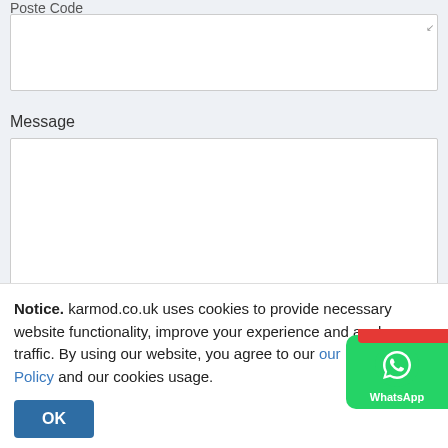Poste Code
Message
This form collects your name, email, and phone so that we can contact you regarding your enquiry and add you to our newsletter list to project updates.
[Figure (screenshot): WhatsApp contact widget button on the right side of the page, green background with WhatsApp phone icon and 'WhatsApp' label]
Notice. karmod.co.uk uses cookies to provide necessary website functionality, improve your experience and analyze our traffic. By using our website, you agree to our our Privacy Policy and our cookies usage.
OK